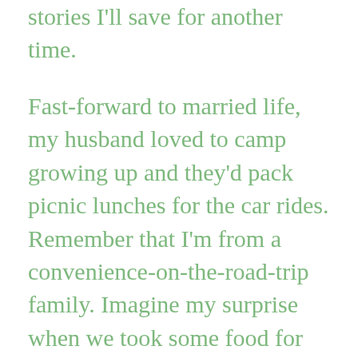stories I'll save for another time.
Fast-forward to married life, my husband loved to camp growing up and they'd pack picnic lunches for the car rides. Remember that I'm from a convenience-on-the-road-trip family. Imagine my surprise when we took some food for our honeymoon trip that didn't come from a package or a drive-thru. We've hiked in the Smokies and